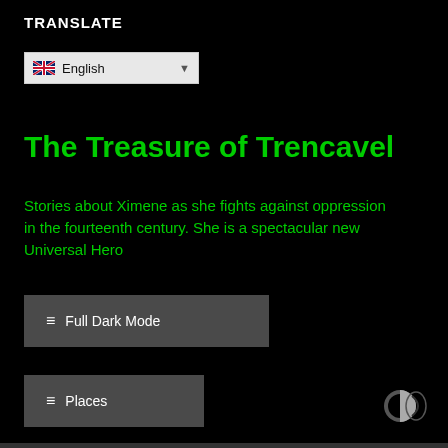TRANSLATE
[Figure (screenshot): Dropdown selector showing English language option with UK flag icon and dropdown arrow]
The Treasure of Trencavel
Stories about Ximene as she fights against oppression in the fourteenth century. She is a spectacular new Universal Hero
≡ Full Dark Mode
≡ Places